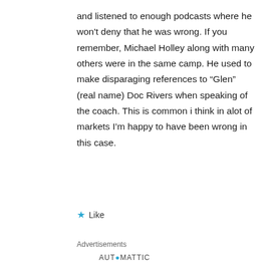and listened to enough podcasts where he won't deny that he was wrong. If you remember, Michael Holley along with many others were in the same camp. He used to make disparaging references to “Glen” (real name) Doc Rivers when speaking of the coach. This is common i think in alot of markets I’m happy to have been wrong in this case.
Like
Advertisements
AUT●MATTIC